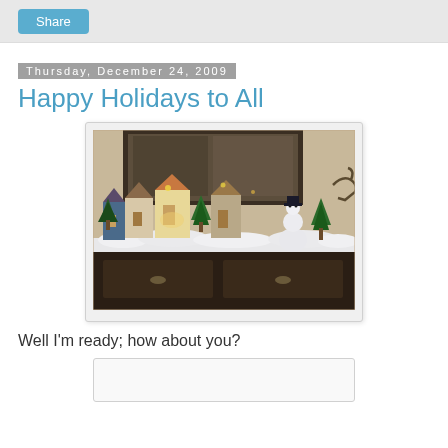Share
Thursday, December 24, 2009
Happy Holidays to All
[Figure (photo): A Christmas village display with miniature lit buildings, trees, and figurines arranged on top of a dark wood dresser/cabinet. A mirror is visible in the background reflecting the room.]
Well I'm ready; how about you?